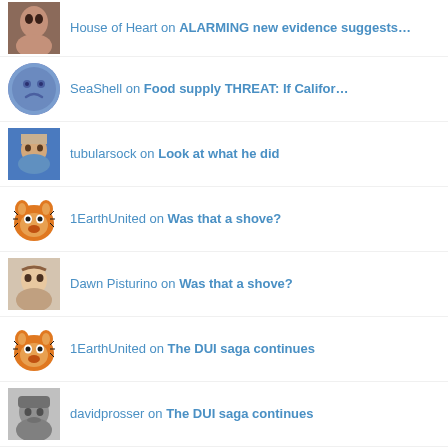House of Heart on ALARMING new evidence suggests…
SeaShell on Food supply THREAT: If Califor…
tubularsock on Look at what he did
1EarthUnited on Was that a shove?
Dawn Pisturino on Was that a shove?
1EarthUnited on The DUI saga continues
davidprosser on The DUI saga continues
1EarthUnited on The DUI saga continues